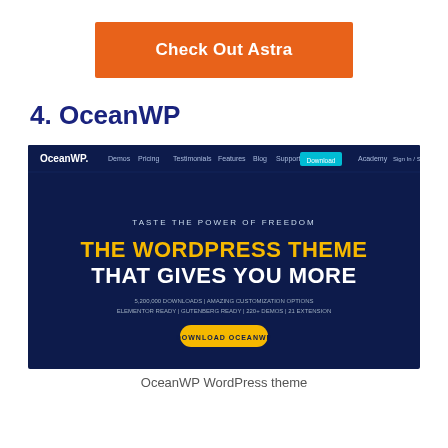[Figure (other): Orange button labeled 'Check Out Astra']
4. OceanWP
[Figure (screenshot): Screenshot of OceanWP WordPress theme website homepage showing dark navy background with headline 'THE WORDPRESS THEME THAT GIVES YOU MORE' in yellow and white text, with navigation bar at top]
OceanWP WordPress theme